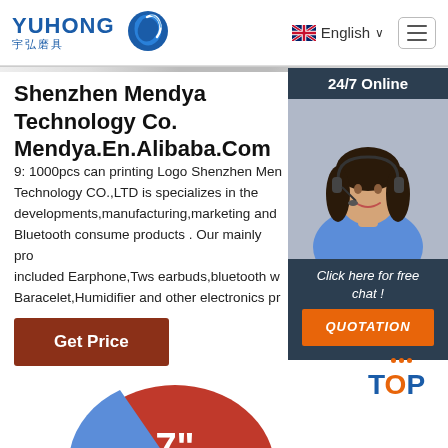YUHONG 宇弘磨具 | English
Shenzhen Mendya Technology Co. Mendya.En.Alibaba.Com
9: 1000pcs can printing Logo Shenzhen Mendya Technology CO.,LTD is specializes in the developments,manufacturing,marketing and Bluetooth consume products . Our mainly products included Earphone,Tws earbuds,bluetooth w... Baracelet,Humidifier and other electronics pr...
[Figure (screenshot): 24/7 Online chat widget with woman wearing headset, and QUOTATION button]
[Figure (photo): Product image showing circular grinding disc/abrasive wheel with '7"' text, partially visible at bottom of page]
[Figure (other): TOP navigation button with orange dots above and blue text]